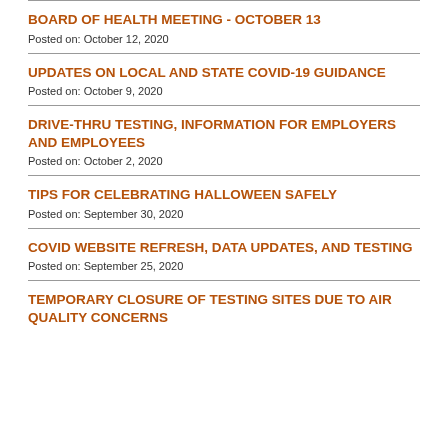BOARD OF HEALTH MEETING - OCTOBER 13
Posted on: October 12, 2020
UPDATES ON LOCAL AND STATE COVID-19 GUIDANCE
Posted on: October 9, 2020
DRIVE-THRU TESTING, INFORMATION FOR EMPLOYERS AND EMPLOYEES
Posted on: October 2, 2020
TIPS FOR CELEBRATING HALLOWEEN SAFELY
Posted on: September 30, 2020
COVID WEBSITE REFRESH, DATA UPDATES, AND TESTING
Posted on: September 25, 2020
TEMPORARY CLOSURE OF TESTING SITES DUE TO AIR QUALITY CONCERNS